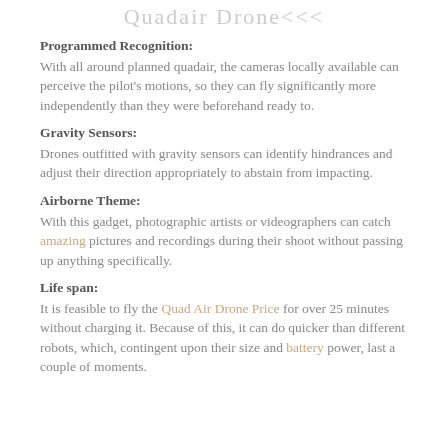Quadair Drone<<<
Programmed Recognition:
With all around planned quadair, the cameras locally available can perceive the pilot's motions, so they can fly significantly more independently than they were beforehand ready to.
Gravity Sensors:
Drones outfitted with gravity sensors can identify hindrances and adjust their direction appropriately to abstain from impacting.
Airborne Theme:
With this gadget, photographic artists or videographers can catch amazing pictures and recordings during their shoot without passing up anything specifically.
Life span:
It is feasible to fly the Quad Air Drone Price for over 25 minutes without charging it. Because of this, it can do quicker than different robots, which, contingent upon their size and battery power, last a couple of moments.